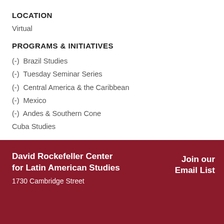LOCATION
Virtual
PROGRAMS & INITIATIVES
(-) Brazil Studies
(-) Tuesday Seminar Series
(-) Central America & the Caribbean
(-) Mexico
(-) Andes & Southern Cone
Cuba Studies
David Rockefeller Center for Latin American Studies
1730 Cambridge Street
Join our Email List